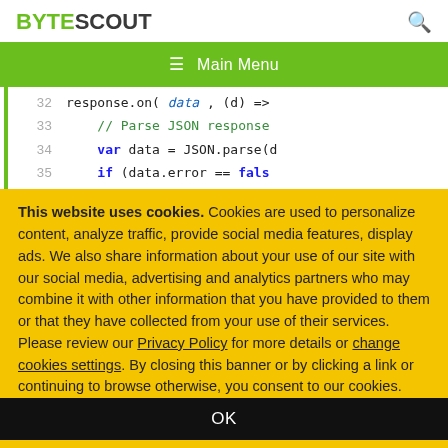BYTESCOUT
[Figure (screenshot): Code editor snippet showing lines 32-35 with JavaScript code: response.on( data , (d) => ..., // Parse JSON response, var data = JSON.parse(d..., if (data.error == false...]
This website uses cookies. Cookies are used to personalize content, analyze traffic, provide social media features, display ads. We also share information about your use of our site with our social media, advertising and analytics partners who may combine it with other information that you have provided to them or that they have collected from your use of their services. Please review our Privacy Policy for more details or change cookies settings. By closing this banner or by clicking a link or continuing to browse otherwise, you consent to our cookies.
OK